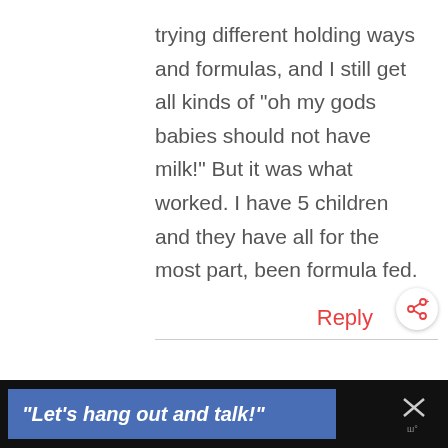trying different holding ways and formulas, and I still get all kinds of “oh my gods babies should not have milk!” But it was what worked. I have 5 children and they have all for the most part, been formula fed.
Reply
[Figure (other): Share/social icon button (circle with share symbol and plus sign)]
“Let’s hang out and talk!”
[Figure (other): Close (X) button with menu icon below it on dark background]